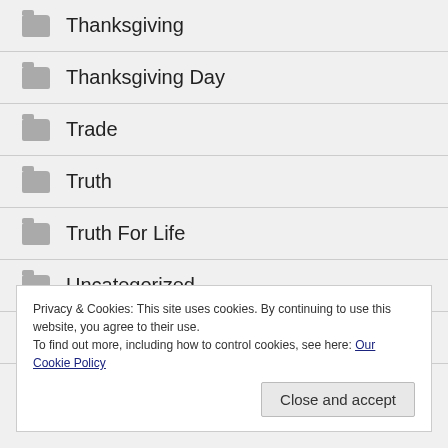Thanksgiving
Thanksgiving Day
Trade
Truth
Truth For Life
Uncategorized
Voters
Privacy & Cookies: This site uses cookies. By continuing to use this website, you agree to their use.
To find out more, including how to control cookies, see here: Our Cookie Policy
Close and accept